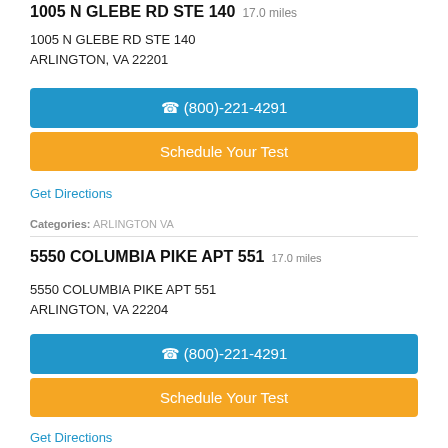1005 N GLEBE RD STE 140  17.0 miles
1005 N GLEBE RD STE 140
ARLINGTON, VA 22201
(800)-221-4291
Schedule Your Test
Get Directions
Categories: ARLINGTON VA
5550 COLUMBIA PIKE APT 551  17.0 miles
5550 COLUMBIA PIKE APT 551
ARLINGTON, VA 22204
(800)-221-4291
Schedule Your Test
Get Directions